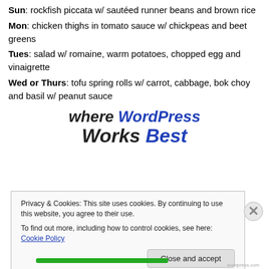Sun: rockfish piccata w/ sautéed runner beans and brown rice
Mon: chicken thighs in tomato sauce w/ chickpeas and beet greens
Tues: salad w/ romaine, warm potatoes, chopped egg and vinaigrette
Wed or Thurs: tofu spring rolls w/ carrot, cabbage, bok choy and basil w/ peanut sauce
[Figure (screenshot): WordPress promotional banner text: 'where WordPress Works Best']
Privacy & Cookies: This site uses cookies. By continuing to use this website, you agree to their use. To find out more, including how to control cookies, see here: Cookie Policy
Close and accept